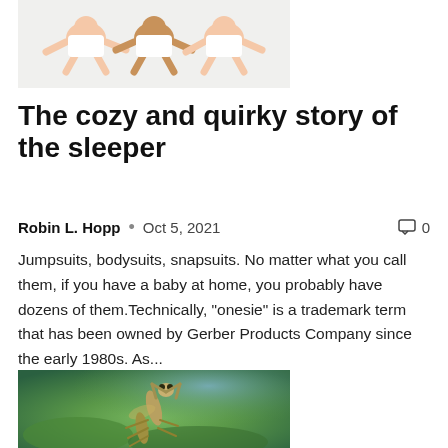[Figure (photo): Three babies in white onesies lying on a white background]
The cozy and quirky story of the sleeper
Robin L. Hopp  •  Oct 5, 2021   0
Jumpsuits, bodysuits, snapsuits. No matter what you call them, if you have a baby at home, you probably have dozens of them.Technically, "onesie" is a trademark term that has been owned by Gerber Products Company since the early 1980s. As...
[Figure (photo): Close-up photo of a praying mantis on green leaves with a blurred green and blue background]